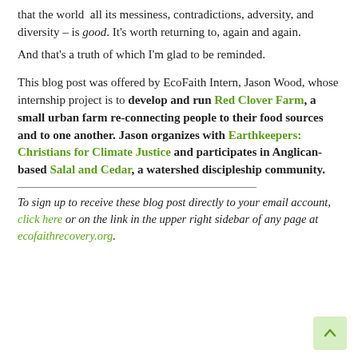that the world  all its messiness, contradictions, adversity, and diversity – is good. It's worth returning to, again and again.
And that's a truth of which I'm glad to be reminded.
This blog post was offered by EcoFaith Intern, Jason Wood, whose internship project is to develop and run Red Clover Farm, a small urban farm re-connecting people to their food sources and to one another. Jason organizes with Earthkeepers: Christians for Climate Justice and participates in Anglican-based Salal and Cedar, a watershed discipleship community.
To sign up to receive these blog post directly to your email account, click here or on the link in the upper right sidebar of any page at ecofaithrecovery.org.